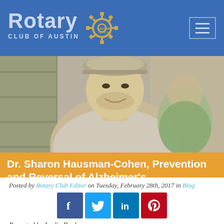Rotary Club of Austin
[Figure (photo): Hero image showing a smiling man in a baseball cap, with another person visible in the background, in a wooden interior setting]
Dr. Sharon Hausman-Cohen, Prevention and Reversal of Alzheimer's
Posted by Rotary Club Editor on Tuesday, February 28th, 2017 in Blog
[Figure (infographic): Social media sharing icons: Facebook, Twitter, LinkedIn, Pinterest]
Reported by Leslie Bagby
President Dale Lowe called the meeting to order right at